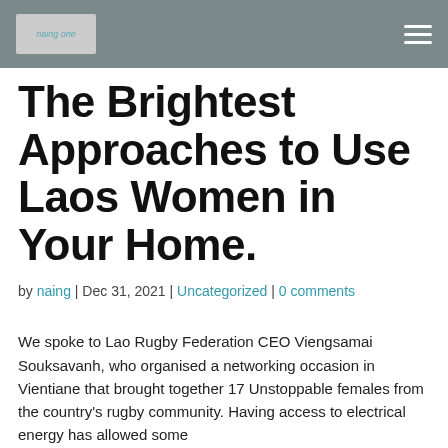naing one [logo]
The Brightest Approaches to Use Laos Women in Your Home.
by naing | Dec 31, 2021 | Uncategorized | 0 comments
We spoke to Lao Rugby Federation CEO Viengsamai Souksavanh, who organised a networking occasion in Vientiane that brought together 17 Unstoppable females from the country's rugby community. Having access to electrical energy has allowed some